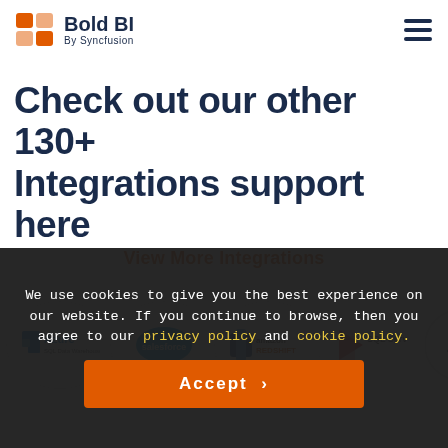Bold BI By Syncfusion
Check out our other 130+ Integrations support here
View More Integrations
[Figure (logo): Integration logos row: Azure, Salesforce, Amazon Redshift, SQL Server, with scroll-up button]
We use cookies to give you the best experience on our website. If you continue to browse, then you agree to our privacy policy and cookie policy.
Accept >